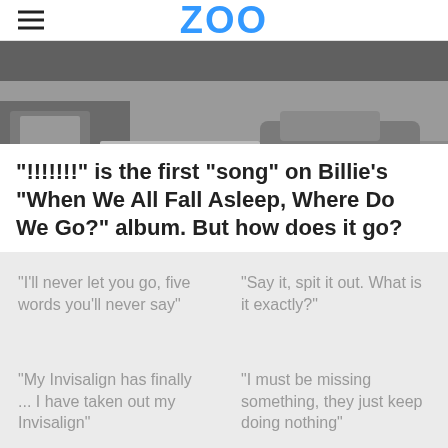ZOO
[Figure (photo): Dark moody grayscale photo of a street scene with cars, nighttime atmosphere. Credit: Darkroom/Interscope]
"!!!!!!!" is the first "song" on Billie's "When We All Fall Asleep, Where Do We Go?" album. But how does it go?
"I'll never let you go, five words you'll never say"
"Say it, spit it out. What is it exactly?"
"My Invisalign has finally ... I have taken out my Invisalign"
"I must be missing something, they just keep doing nothing"